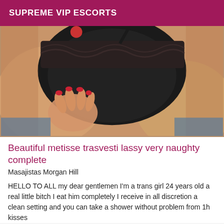SUPREME VIP ESCORTS
[Figure (photo): Close-up photo of a person wearing black lace lingerie]
Beautiful metisse trasvesti lassy very naughty complete
Masajistas Morgan Hill
HELLO TO ALL my dear gentlemen I'm a trans girl 24 years old a real little bitch I eat him completely I receive in all discretion a clean setting and you can take a shower without problem from 1h kisses